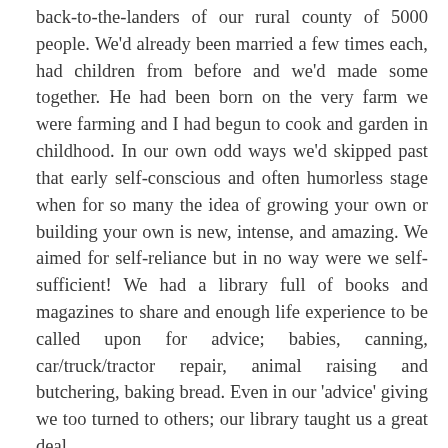back-to-the-landers of our rural county of 5000 people. We'd already been married a few times each, had children from before and we'd made some together. He had been born on the very farm we were farming and I had begun to cook and garden in childhood. In our own odd ways we'd skipped past that early self-conscious and often humorless stage when for so many the idea of growing your own or building your own is new, intense, and amazing. We aimed for self-reliance but in no way were we self-sufficient! We had a library full of books and magazines to share and enough life experience to be called upon for advice; babies, canning, car/truck/tractor repair, animal raising and butchering, baking bread. Even in our 'advice' giving we too turned to others; our library taught us a great deal.
All these 33 years later after leaving the farm how do we maintain our self-reliant style of life? Like all such aspirations our goals have had to bend and flex to accommodate raising a family in a new Southern place. If for